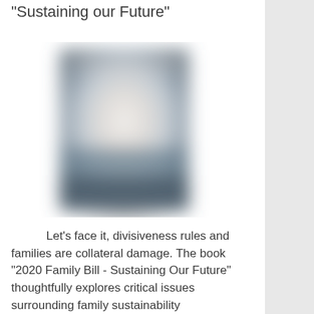"Sustaining our Future"
[Figure (photo): Blurred book cover image, showing a soft-focus photo of a book with light and dark tones, predominantly white and blue-gray colors.]
Let's face it, divisiveness rules and families are collateral damage. The book "2020 Family Bill - Sustaining Our Future" thoughtfully explores critical issues surrounding family sustainability